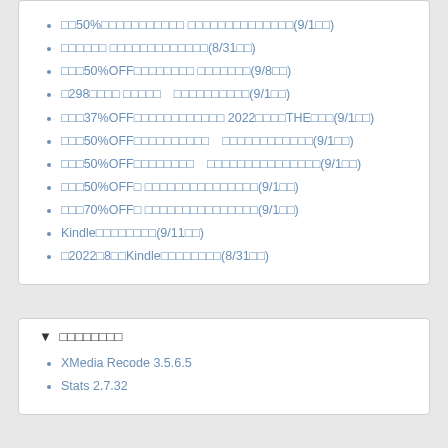□□50%□□□□□□□□□□□ □□□□□□□□□□□□□□(9/1□□)
□□□□□□ □□□□□□□□□□□□□(8/31□□)
□□□50%OFF□□□□□□□□ □□□□□□□(9/8□□)
□298□□□□ □□□□□　□□□□□□□□□□(9/1□□)
□□□37%OFF□□□□□□□□□□□□ 2022□□□□THE□□□(9/1□□)
□□□50%OFF□□□□□□□□□□　□□□□□□□□□□□□(9/1□□)
□□□50%OFF□□□□□□□□　□□□□□□□□□□□□□□□(9/1□□)
□□□50%OFF□ □□□□□□□□□□□□□□□(9/1□□)
□□□70%OFF□ □□□□□□□□□□□□□□□(9/1□□)
Kindle□□□□□□□□(9/11□□)
□2022□8□□Kindle□□□□□□□□(8/31□□)
▼ □□□□□□□□
XMedia Recode 3.5.6.5
Stats 2.7.32